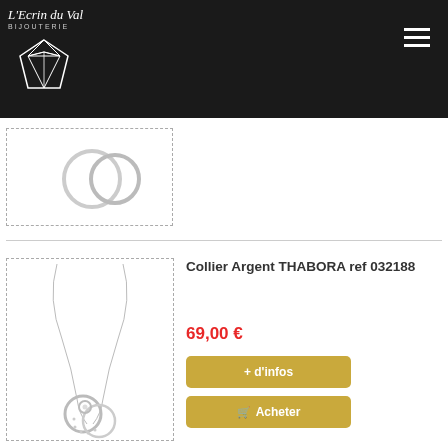L'Ecrin du Val BIJOUTERIE
[Figure (photo): Partially visible product card with two silver rings on white background, dashed border]
[Figure (photo): Silver necklace THABORA with circular pendant featuring diamonds, on white background, dashed border]
Collier Argent THABORA ref 032188
69,00 €
+ d'infos
Acheter